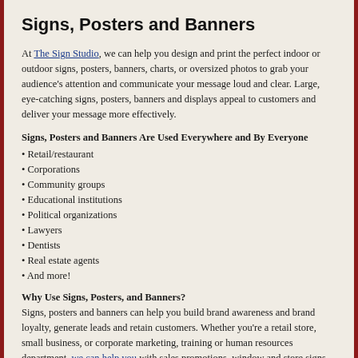Signs, Posters and Banners
At The Sign Studio, we can help you design and print the perfect indoor or outdoor signs, posters, banners, charts, or oversized photos to grab your audience's attention and communicate your message loud and clear. Large, eye-catching signs, posters, banners and displays appeal to customers and deliver your message more effectively.
Signs, Posters and Banners Are Used Everywhere and By Everyone
• Retail/restaurant
• Corporations
• Community groups
• Educational institutions
• Political organizations
• Lawyers
• Dentists
• Real estate agents
• And more!
Why Use Signs, Posters, and Banners?
Signs, posters and banners can help you build brand awareness and brand loyalty, generate leads and retain customers. Whether you're a retail store, small business, or corporate marketing, training or human resources department, we can help you with sales promotions, window and store signs, presentation support, or trade show